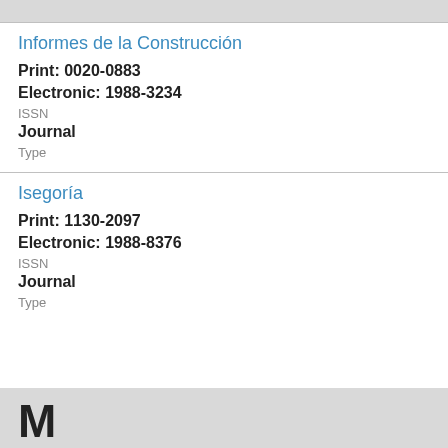Informes de la Construcción
Print: 0020-0883
Electronic: 1988-3234
ISSN
Journal
Type
Isegoría
Print: 1130-2097
Electronic: 1988-8376
ISSN
Journal
Type
M